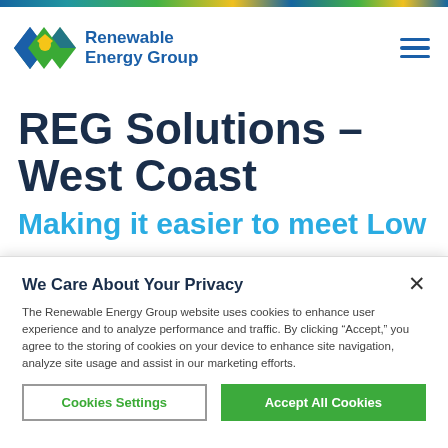[Figure (logo): Renewable Energy Group logo with diamond-shaped icon in blue, green, and yellow, and bold blue text reading 'Renewable Energy Group']
REG Solutions - West Coast
Making it easier to meet Low
We Care About Your Privacy
The Renewable Energy Group website uses cookies to enhance user experience and to analyze performance and traffic. By clicking "Accept," you agree to the storing of cookies on your device to enhance site navigation, analyze site usage and assist in our marketing efforts.
Cookies Settings
Accept All Cookies